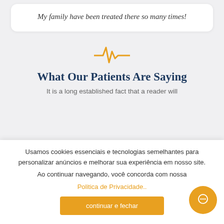My family have been treated there so many times!
[Figure (illustration): Orange heartbeat/pulse line icon]
What Our Patients Are Saying
It is a long established fact that a reader will
Usamos cookies essenciais e tecnologias semelhantes para personalizar anúncios e melhorar sua experiência em nosso site.
Ao continuar navegando, você concorda com nossa Politica de Privacidade..
continuar e fechar